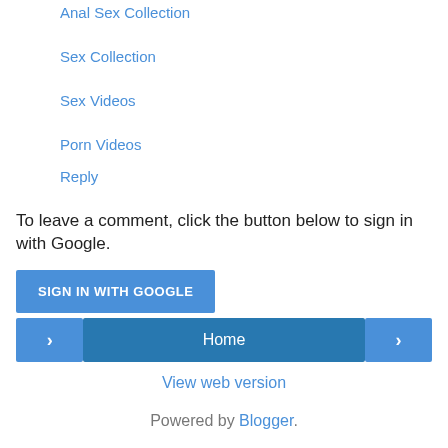Anal Sex Collection
Sex Collection
Sex Videos
Porn Videos
Reply
To leave a comment, click the button below to sign in with Google.
SIGN IN WITH GOOGLE
Home
View web version
Powered by Blogger.